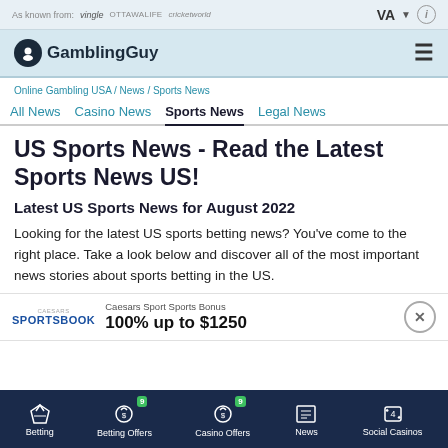As known from: Vingle OTTAWALFE cricketworld   VA  i
GamblingGuy
Online Gambling USA / News / Sports News
All News   Casino News   Sports News   Legal News
US Sports News - Read the Latest Sports News US!
Latest US Sports News for August 2022
Looking for the latest US sports betting news? You've come to the right place. Take a look below and discover all of the most important news stories about sports betting in the US.
Caesars Sport Sports Bonus
100% up to $1250
Betting   Betting Offers 9   Casino Offers 9   News   Social Casinos